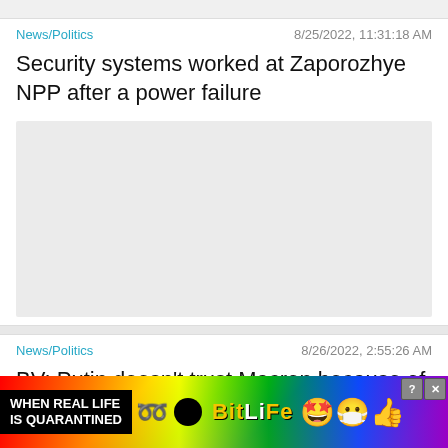News/Politics    8/25/2022, 11:31:18 AM
Security systems worked at Zaporozhye NPP after a power failure
[Figure (photo): Gray placeholder image for the news article about Zaporozhye NPP]
News/Politics    8/26/2022, 2:55:26 AM
BV: Putin doesn't trust Macron because of controversial policies
[Figure (screenshot): BitLife advertisement banner: 'WHEN REAL LIFE IS QUARANTINED' with rainbow background, sperm icon, BitLife logo in yellow, star-eyed emoji with mask, and thumbs up emoji. Close X button in upper right.]